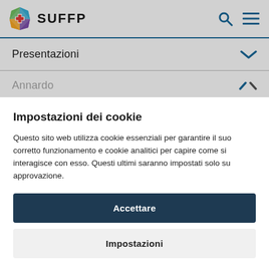SUFFP
Presentazioni
Annardo
Impostazioni dei cookie
Questo sito web utilizza cookie essenziali per garantire il suo corretto funzionamento e cookie analitici per capire come si interagisce con esso. Questi ultimi saranno impostati solo su approvazione.
Accettare
Impostazioni